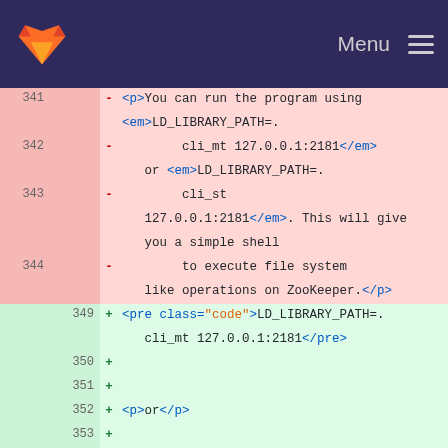[Figure (screenshot): GitLab navigation bar with orange fox logo on dark navy background and Menu hamburger icon on the right]
Diff view of a file showing removed lines (341-344, pink background) with HTML markup for LD_LIBRARY_PATH commands and ZooKeeper shell, and added lines (349-357, green background) with pre and p tags for the same commands.